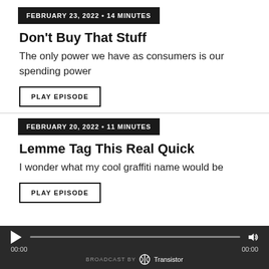FEBRUARY 23, 2022 • 14 MINUTES
Don't Buy That Stuff
The only power we have as consumers is our spending power
PLAY EPISODE
FEBRUARY 20, 2022 • 11 MINUTES
Lemme Tag This Real Quick
I wonder what my cool graffiti name would be
PLAY EPISODE
▶ 00:00  BROADCAST BY Transistor 00:00